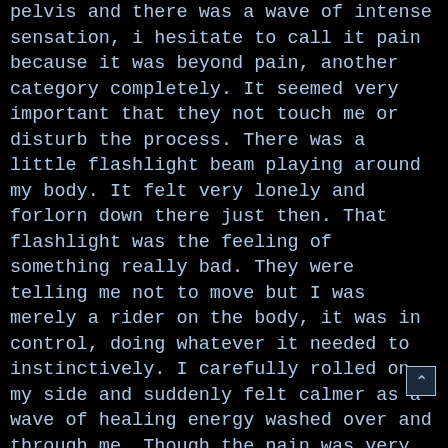pelvis and there was a wave of intense sensation, i hesitate to call it pain because it was beyond pain, another category completely. It seemed very important that they not touch me or disturb the process. There was a little flashlight beam playing around my body. It felt very lonely and forlorn down there just then. That flashlight was the feeling of something really bad. They were telling me not to move but I was merely a rider on the body, it was in control, doing whatever it needed to instinctively. I carefully rolled on my side and suddenly felt calmer as a wave of healing energy washed over and through me. Though the pain was very intense, it shifted to something almost sacred. I felt peaceful and spoke to them in a comforting way,
"It's ok you guys, don't worry. I am going to be alright. I can feel it, I am ok. I just need time for myself. Just wait, wait, it's ok."